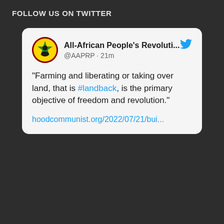FOLLOW US ON TWITTER
[Figure (screenshot): Twitter/X social media post card from All-African People's Revoluti... (@AAPRP) posted 21m ago. The tweet reads: "Farming and liberating or taking over land, that is #landback, is the primary objective of freedom and revolution." with a link to hoodcommunist.org/2022/07/21/bui...]